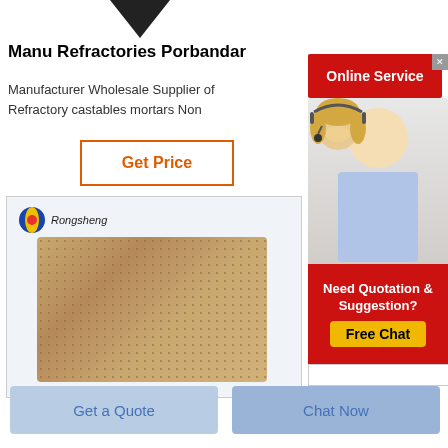[Figure (illustration): Dark downward-pointing arrow icon at top center of page]
Manu Refractories Porbandar
Manufacturer Wholesale Supplier of Refractory castables mortars Non
[Figure (illustration): Get Price button with orange border]
[Figure (photo): Rongsheng branded product image showing a brown refractory brick on white/light blue background]
Miz: Refi Coa Details Plus
[Figure (illustration): Online Service red banner advertisement with woman wearing headset and Need Quotation & Suggestion? Free Chat overlay]
[Figure (illustration): Get a Quote button (light blue)]
[Figure (illustration): Chat Now button (medium blue)]